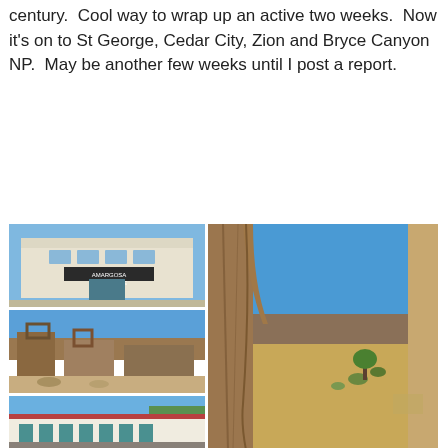century.  Cool way to wrap up an active two weeks.  Now it's on to St George, Cedar City, Zion and Bryce Canyon NP.  May be another few weeks until I post a report.
[Figure (photo): Grid of travel photos: Amargosa Opera House building (white adobe exterior), ruins of old stone buildings in desert, low white commercial building along road, desert landscape through rock arch opening with scrubland and mountains, close-up of rock arch, salt flat landscape, rocky hillside]